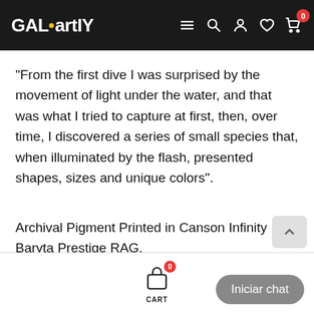GAL•artY
“From the first dive I was surprised by the movement of light under the water, and that was what I tried to capture at first, then, over time, I discovered a series of small species that, when illuminated by the flash, presented shapes, sizes and unique colors”.
Archival Pigment Printed in Canson Infinity Baryta Prestige RAG.
CART  Iniciar chat